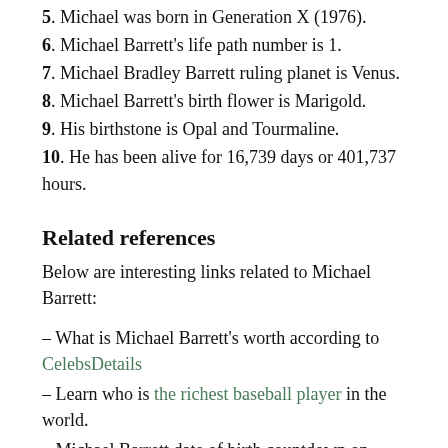5. Michael was born in Generation X (1976).
6. Michael Barrett's life path number is 1.
7. Michael Bradley Barrett ruling planet is Venus.
8. Michael Barrett's birth flower is Marigold.
9. His birthstone is Opal and Tourmaline.
10. He has been alive for 16,739 days or 401,737 hours.
Related references
Below are interesting links related to Michael Barrett:
– What is Michael Barrett's worth according to CelebsDetails
– Learn who is the richest baseball player in the world.
– Michael Barrett date of birth countdown on